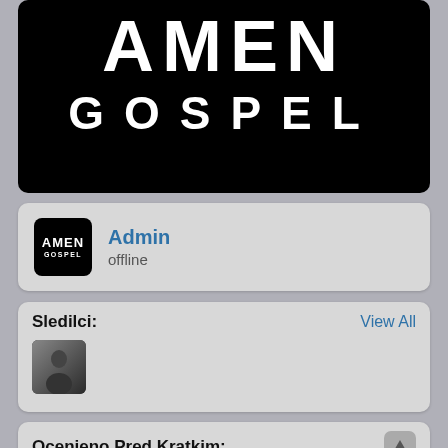[Figure (logo): AMEN GOSPEL logo on black background — large white bold 'AMEN' text above spaced white 'GOSPEL' text]
Admin
offline
Sledilci:
View All
[Figure (photo): Small thumbnail portrait photo of a person in dark clothing]
Ocenjeno Pred Kratkim: